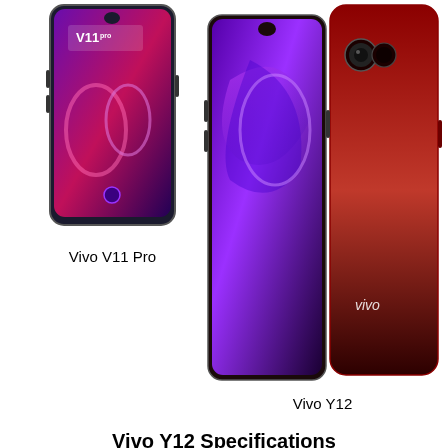[Figure (photo): Vivo V11 Pro smartphone shown from the front with colorful screen display]
Vivo V11 Pro
[Figure (photo): Vivo Y12 smartphone shown from front and back with red/gradient color]
Vivo Y12
Vivo Y12 Specifications
Key Specs
Display    6.35 inches
Camera    13MP + 8MP + 2MP
Performance    Mediatek MT6762 Helio P22
Battery    5000 Mah
Internal    4GB + 64GB